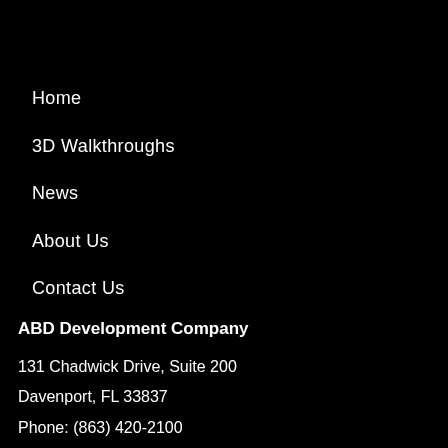Home
3D Walkthroughs
News
About Us
Contact Us
ABD Development Company
131 Chadwick Drive, Suite 200
Davenport, FL 33837
Phone: (863) 420-2100